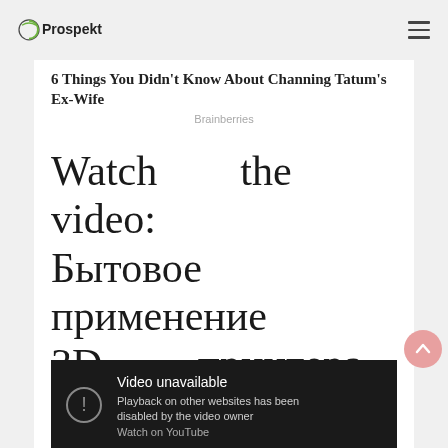Prospekt
6 Things You Didn't Know About Channing Tatum's Ex-Wife
Brainberries
Watch the video: Бытовое применение 3D принтера (August 2022).
[Figure (screenshot): Embedded YouTube video player showing 'Video unavailable. Playback on other websites has been disabled by the video owner. Watch on YouTube.']